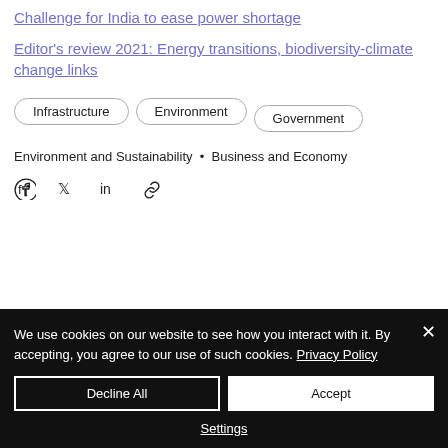Challenge for India to ease power shortage
Editor's review 2021: Energy transitions, biodiversity-climate change links
Infrastructure
Environment
Government
Environment and Sustainability • Business and Economy
[Figure (infographic): Social share icons: Facebook, Twitter, LinkedIn, link/copy]
We use cookies on our website to see how you interact with it. By accepting, you agree to our use of such cookies. Privacy Policy
Decline All
Accept
Settings